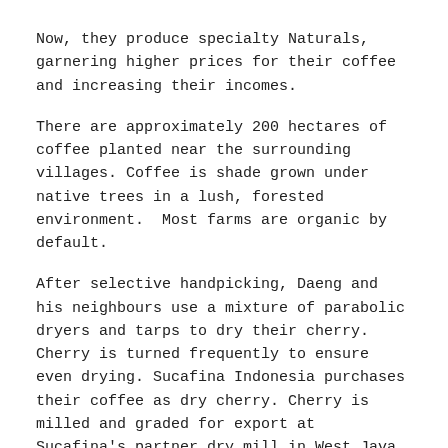Now, they produce specialty Naturals, garnering higher prices for their coffee and increasing their incomes.
There are approximately 200 hectares of coffee planted near the surrounding villages. Coffee is shade grown under native trees in a lush, forested environment.  Most farms are organic by default.
After selective handpicking, Daeng and his neighbours use a mixture of parabolic dryers and tarps to dry their cherry. Cherry is turned frequently to ensure even drying. Sucafina Indonesia purchases their coffee as dry cherry. Cherry is milled and graded for export at Sucafina's partner dry mill in West Java.
Though Arabica coffee has been grown in the Gowa district since the colonial era (approximately 1820s to 1950s), the region is well known for coffee production. The few traders who are familiar with Gowa, think of the cheap, low quality products used in commercial blends. While historically low investment in